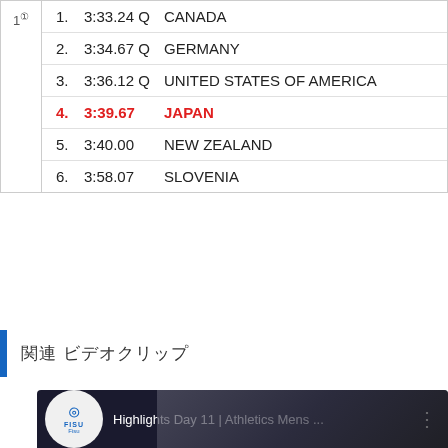| Heat | Pos | Time | Country |
| --- | --- | --- | --- |
| 1(cont.) | 1. | 3:33.24 Q | CANADA |
|  | 2. | 3:34.67 Q | GERMANY |
|  | 3. | 3:36.12 Q | UNITED STATES OF AMERICA |
|  | 4. | 3:39.67 | JAPAN |
|  | 5. | 3:40.00 | NEW ZEALAND |
|  | 6. | 3:58.07 | SLOVENIA |
関連 ビデオクリップ
[Figure (screenshot): YouTube video thumbnail showing FISU logo and title 'Highlights Day 11 | Athletics Mens ...' with crowd of athletes in background]